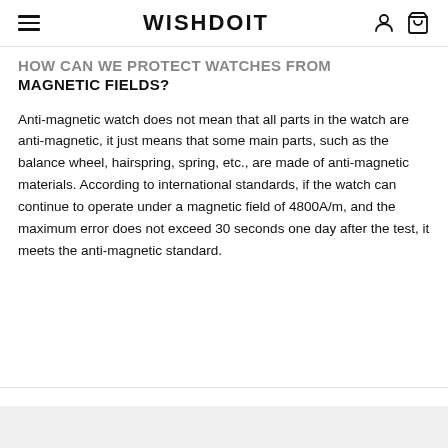WISHDOIT
HOW CAN WE PROTECT WATCHES FROM MAGNETIC FIELDS?
Anti-magnetic watch does not mean that all parts in the watch are anti-magnetic, it just means that some main parts, such as the balance wheel, hairspring, spring, etc., are made of anti-magnetic materials. According to international standards, if the watch can continue to operate under a magnetic field of 4800A/m, and the maximum error does not exceed 30 seconds one day after the test, it meets the anti-magnetic standard.